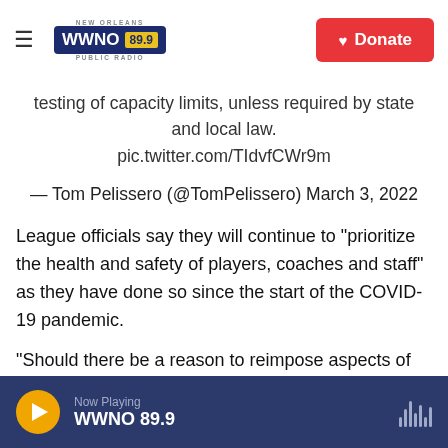WWNO 89.9 New Orleans Public Radio | Donate
testing of capacity limits, unless required by state and local law. pic.twitter.com/TIdvfCWr9m
— Tom Pelissero (@TomPelissero) March 3, 2022
League officials say they will continue to "prioritize the health and safety of players, coaches and staff" as they have done so since the start of the COVID-19 pandemic.
"Should there be a reason to reimpose aspects of the Protocols or to take other measures, we will
Now Playing WWNO 89.9